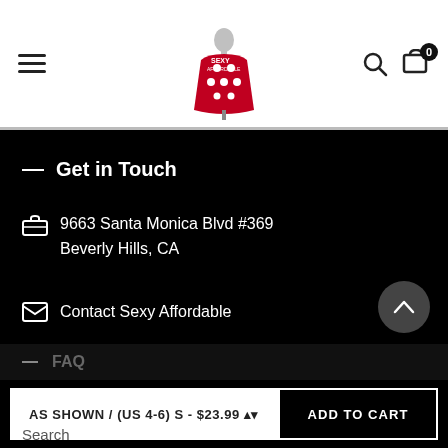[Figure (logo): Sexy Affordable brand logo: a woman mannequin in a red polka-dot dress]
Get in Touch
9663 Santa Monica Blvd #369
Beverly Hills, CA
Contact Sexy Affordable
+1 888 882 7693
[Figure (illustration): Social media icons: Facebook, Twitter, Pinterest, Instagram, Snapchat]
FAQ
AS SHOWN / (US 4-6) S - $23.99
ADD TO CART
Search